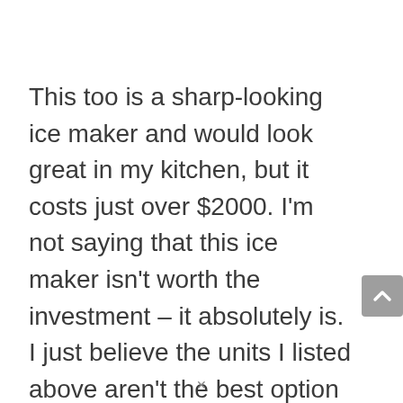This too is a sharp-looking ice maker and would look great in my kitchen, but it costs just over $2000. I'm not saying that this ice maker isn't worth the investment – it absolutely is. I just believe the units I listed above aren't the best option for pellet ice for your home. If you are planning of redesigning your kitchen and plan on plumbing in some water and drain lines – by all means – choose one of these under-the-counter units. For the rest of us who don't want to spend thousands of dollars on an ice maker – what's the best option for pellet ice?